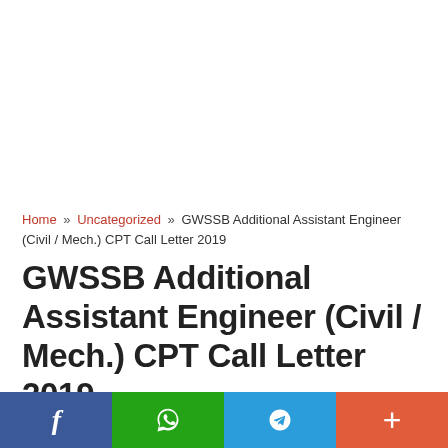Home » Uncategorized » GWSSB Additional Assistant Engineer (Civil / Mech.) CPT Call Letter 2019
GWSSB Additional Assistant Engineer (Civil / Mech.) CPT Call Letter 2019
By SabkaGujarat | 16 Feb, 2019